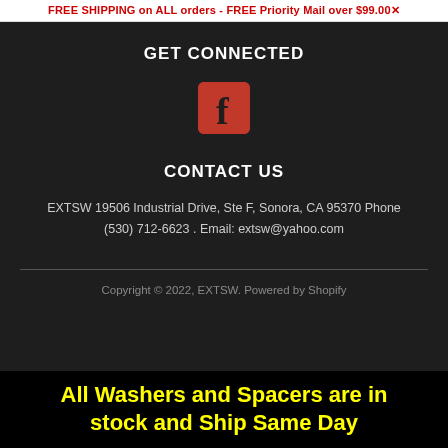FREE SHIPPING on ALL orders - FREE Priority Mail over $99.00 ✕
GET CONNECTED
[Figure (logo): Facebook icon — red/crimson square with white 'f' letter]
CONTACT US
EXTSW 19506 Industrial Drive, Ste F, Sonora, CA 95370 Phone (530) 712-6623 . Email: extsw@yahoo.com
Copyright © 2022, EXTSW. Powered by Shopify
All Washers and Spacers are in stock and Ship Same Day